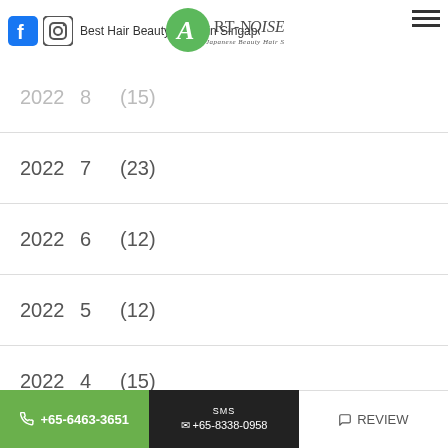Best Hair Beauty Salon in Singapore : Blog : hair colour goals
[Figure (logo): Art-Noise Japanese Beauty Hair Salon logo — green circle with stylized A, text Art-Noise, subtitle Japanese Beauty Hair Salon]
2022  8  (15)
2022  7  (23)
2022  6  (12)
2022  5  (12)
2022  4  (15)
2022  3  (18)
2022  2  (22)
+65-6463-3651  SMS +65-8338-0958  REVIEW